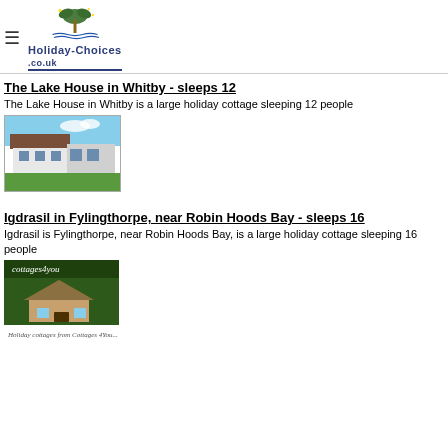Holiday-Choices.co.uk
The Lake House in Whitby - sleeps 12
The Lake House in Whitby is a large holiday cottage sleeping 12 people
[Figure (photo): Photo of The Lake House in Whitby, a large brick house with white lower walls and green lawn in front]
Igdrasil in Fylingthorpe, near Robin Hoods Bay - sleeps 16
Igdrasil is Fylingthorpe, near Robin Hoods Bay, is a large holiday cottage sleeping 16 people
[Figure (photo): Advertisement image for cottages4you showing a thatched cottage with text 'Holiday cottages from Cottages 4 You...']